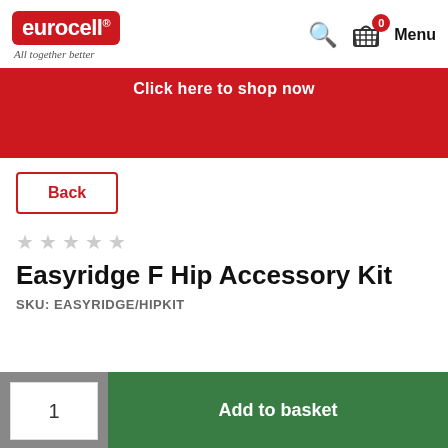eurocell. All together better | Search | Basket 0 | Menu
Click here to shop now
Back
★★★★★ (empty stars)
Easyridge F Hip Accessory Kit
SKU: EASYRIDGE/HIPKIT
1  Add to basket